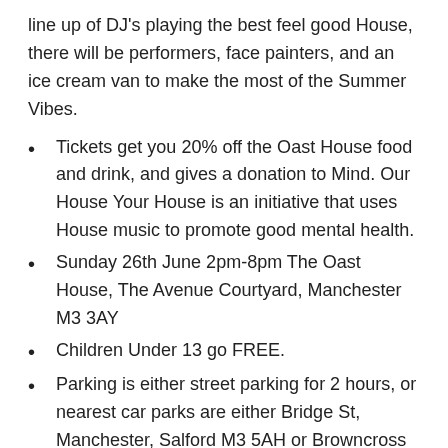line up of DJ's playing the best feel good House, there will be performers, face painters, and an ice cream van to make the most of the Summer Vibes.
Tickets get you 20% off the Oast House food and drink, and gives a donation to Mind. Our House Your House is an initiative that uses House music to promote good mental health.
Sunday 26th June 2pm-8pm The Oast House, The Avenue Courtyard, Manchester M3 3AY
Children Under 13 go FREE.
Parking is either street parking for 2 hours, or nearest car parks are either Bridge St, Manchester, Salford M3 5AH or Browncross St, Salford M3 5FU for long stay. (Please bring extra cast for the face paints and ice cream van as these are not included in the price)
Previous events have been amazing. This one is not to